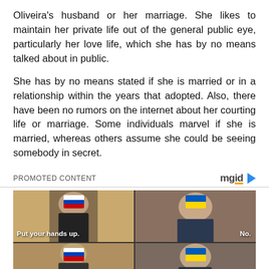Oliveira’s husband or her marriage. She likes to maintain her private life out of the general public eye, particularly her love life, which she has by no means talked about in public.
She has by no means stated if she is married or in a relationship within the years that adopted. Also, there have been no rumors on the internet about her courting life or marriage. Some individuals marvel if she is married, whereas others assume she could be seeing somebody in secret.
PROMOTED CONTENT
[Figure (photo): A four-panel meme image showing two actors in a desert scene. Top-left panel shows a man with a Russian flag emoji overlay and the caption 'Put your hands up.' Top-right shows another man with a Ukrainian flag emoji overlay and caption 'No.' Bottom panels show the same characters with respective Russian and Ukrainian flag overlays.]